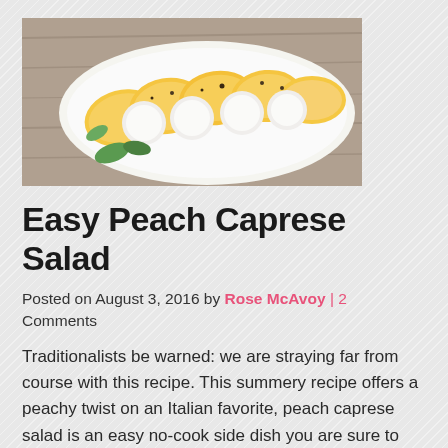[Figure (photo): Food photo showing sliced yellow peaches and fresh mozzarella arranged on a white plate, garnished with herbs, on a wooden surface.]
Easy Peach Caprese Salad
Posted on August 3, 2016 by Rose McAvoy | 2 Comments
Traditionalists be warned: we are straying far from course with this recipe. This summery recipe offers a peachy twist on an Italian favorite, peach caprese salad is an easy no-cook side dish you are sure to revisit again and again. Recipe Highlights: Peach caprese is a quick salad or easy appetizer using fresh peaches Low calories, gluten free and a...
Read More→